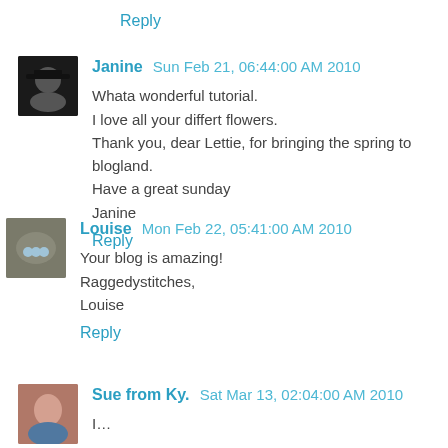Reply
Janine  Sun Feb 21, 06:44:00 AM 2010
Whata wonderful tutorial.
I love all your differt flowers.
Thank you, dear Lettie, for bringing the spring to blogland.
Have a great sunday
Janine
Reply
Louise  Mon Feb 22, 05:41:00 AM 2010
Your blog is amazing!
Raggedystitches,
Louise
Reply
Sue from Ky.  Sat Mar 13, 02:04:00 AM 2010